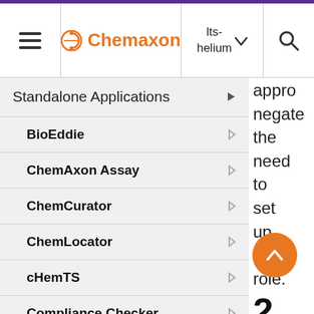Chemaxon — lts-helium
Standalone Applications
BioEddie
ChemAxon Assay
ChemCurator
ChemLocator
cHemTS
Compliance Checker
Compound Registration
Instant JChem
appro... negate the need to set up this role. 2. Cre the